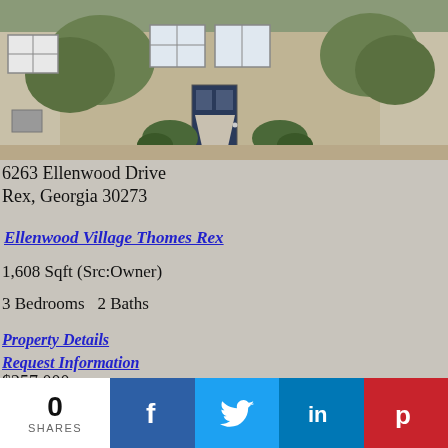[Figure (photo): Exterior photo of a brick townhouse with white-trimmed windows, landscaping with shrubs, and a concrete walkway leading to a dark front door]
6263 Ellenwood Drive
Rex, Georgia 30273
Ellenwood Village Thomes Rex
1,608 Sqft (Src:Owner)
3 Bedrooms   2 Baths
Property Details
Request Information
$257,000
Townhouse
0
SHARES